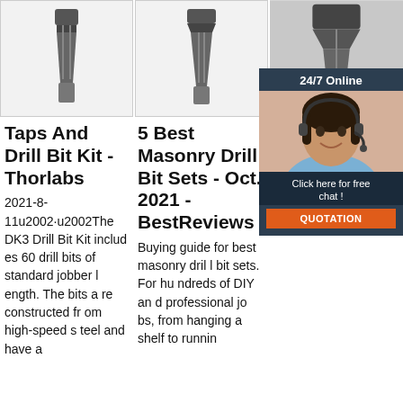[Figure (photo): Drill bit product image on white/light background, column 1]
[Figure (photo): Drill bit product image on white/light background, column 2]
[Figure (photo): Drill bit product image on gray background, column 3, partially obscured by chat widget]
[Figure (photo): Chat widget overlay: '24/7 Online', photo of woman with headset smiling, 'Click here for free chat!', orange QUOTATION button]
Taps And Drill Bit Kit - Thorlabs
2021-8-11u2002·u2002The DK3 Drill Bit Kit includ es 60 drill bits of standard jobber l ength. The bits a re constructed fr om high-speed s teel and have a
5 Best Masonry Drill Bit Sets - Oct. 2021 - BestReviews
Buying guide for best masonry dril l bit sets. For hu ndreds of DIY an d professional jo bs, from hanging a shelf to runnin
Dri
Smi ues dus per t the for peration while in creasing perform ance and lastin g ROP.